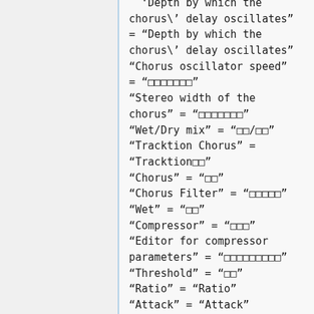Depth by which the chorus\' delay oscillates" = "Depth by which the chorus\' delay oscillates" "Chorus oscillator speed" = "□□□□□□□" "Stereo width of the chorus" = "□□□□□□□" "Wet/Dry mix" = "□□/□□" "Tracktion Chorus" = "Tracktion□□" "Chorus" = "□□" "Chorus Filter" = "□□□□□" "Wet" = "□□" "Compressor" = "□□□" "Editor for compressor parameters" = "□□□□□□□□□" "Threshold" = "□□" "Ratio" = "Ratio" "Attack" = "Attack" "Release" = "Release" "Output" = "□□" "Tracktion Compressor/Limiter" = "Tracktion□□□/□□□"